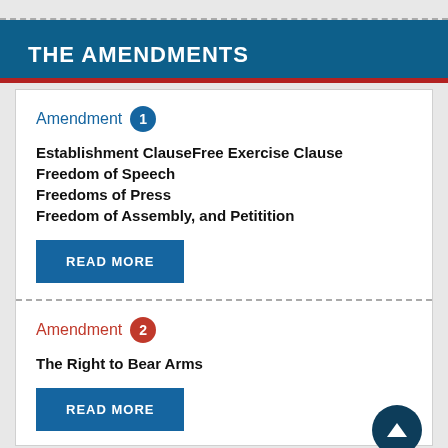THE AMENDMENTS
Amendment 1
Establishment ClauseFree Exercise Clause
Freedom of Speech
Freedoms of Press
Freedom of Assembly, and Petitition
READ MORE
Amendment 2
The Right to Bear Arms
READ MORE